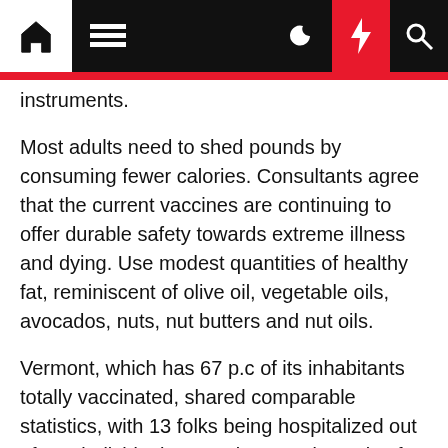Navigation bar with home, menu, moon, lightning, and search icons
instruments.
Most adults need to shed pounds by consuming fewer calories. Consultants agree that the current vaccines are continuing to offer durable safety towards extreme illness and dying. Use modest quantities of healthy fat, reminiscent of olive oil, vegetable oils, avocados, nuts, nut butters and nut oils.
Vermont, which has 67 p.c of its inhabitants totally vaccinated, shared comparable statistics, with 13 folks being hospitalized out of 276 individuals. Meat is a good supply of protein, nutritional vitamins and minerals, including iron, zinc and BÀ nutritional vitamins.
Free sugars are all sugars added to foods or drinks